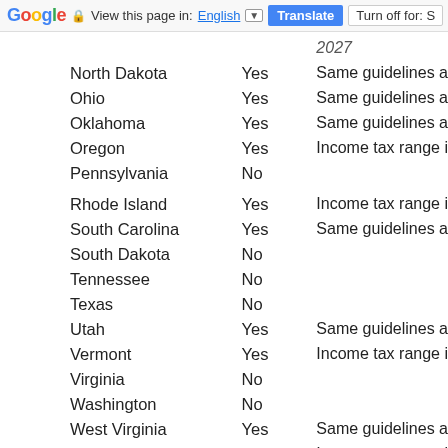Google | View this page in: English [▼] | Translate | Turn off for: S
| State | Yes/No | Detail |
| --- | --- | --- |
|  |  | 2027 |
| North Dakota | Yes | Same guidelines a |
| Ohio | Yes | Same guidelines a |
| Oklahoma | Yes | Same guidelines a |
| Oregon | Yes | Income tax range i |
| Pennsylvania | No |  |
| Rhode Island | Yes | Income tax range i |
| South Carolina | Yes | Same guidelines a |
| South Dakota | No |  |
| Tennessee | No |  |
| Texas | No |  |
| Utah | Yes | Same guidelines a |
| Vermont | Yes | Income tax range i |
| Virginia | No |  |
| Washington | No |  |
| West Virginia | Yes | Same guidelines a |
| Wisconsin | Yes | Income tax range i |
| Wyoming | No |  |